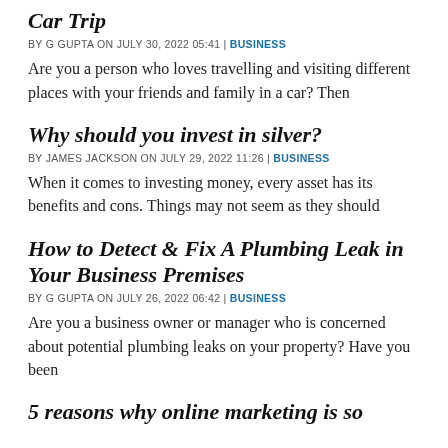Car Trip
BY G GUPTA ON JULY 30, 2022 05:41 | BUSINESS
Are you a person who loves travelling and visiting different places with your friends and family in a car? Then
Why should you invest in silver?
BY JAMES JACKSON ON JULY 29, 2022 11:26 | BUSINESS
When it comes to investing money, every asset has its benefits and cons. Things may not seem as they should
How to Detect & Fix A Plumbing Leak in Your Business Premises
BY G GUPTA ON JULY 26, 2022 06:42 | BUSINESS
Are you a business owner or manager who is concerned about potential plumbing leaks on your property? Have you been
5 reasons why online marketing is so...